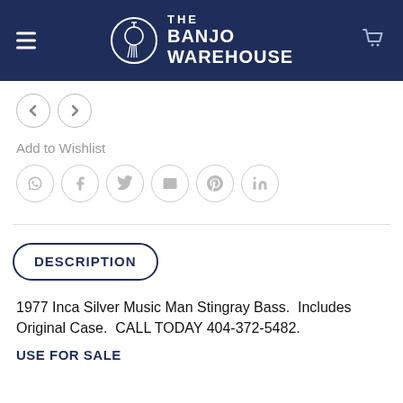[Figure (logo): The Banjo Warehouse logo with hamburger menu and cart icon on dark navy header]
[Figure (other): Navigation back and forward arrow buttons (circular outline)]
Add to Wishlist
[Figure (other): Social sharing icons row: WhatsApp, Facebook, Twitter, Email, Pinterest, LinkedIn (circular outline buttons)]
DESCRIPTION
1977 Inca Silver Music Man Stingray Bass.  Includes Original Case.  CALL TODAY 404-372-5482.
USE FOR SALE